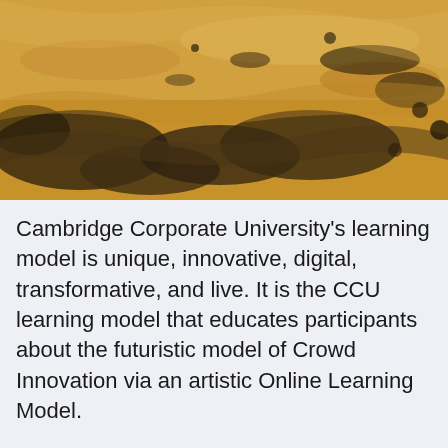[Figure (photo): Aerial or close-up photograph of a desert landscape with sandy golden terrain and dark muddy or rocky patches.]
Cambridge Corporate University's learning model is unique, innovative, digital, transformative, and live. It is the CCU learning model that educates participants about the futuristic model of Crowd Innovation via an artistic Online Learning Model.
It is only at CCU that the online portal is a real lecturing hall, where the instructor interacts